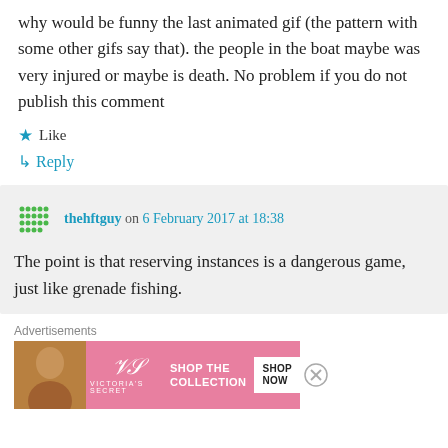why would be funny the last animated gif (the pattern with some other gifs say that). the people in the boat maybe was very injured or maybe is death. No problem if you do not publish this comment
★ Like
↳ Reply
thehftguy on 6 February 2017 at 18:38
The point is that reserving instances is a dangerous game, just like grenade fishing.
Advertisements
[Figure (illustration): Victoria's Secret advertisement banner with a woman's photo, VS logo, 'SHOP THE COLLECTION' text, and 'SHOP NOW' button]